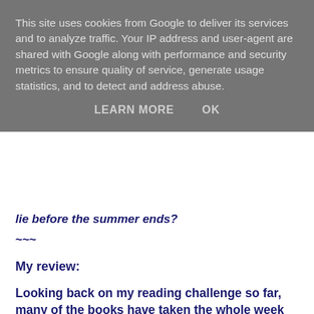This site uses cookies from Google to deliver its services and to analyze traffic. Your IP address and user-agent are shared with Google along with performance and security metrics to ensure quality of service, generate usage statistics, and to detect and address abuse.
LEARN MORE    OK
lie before the summer ends?
~~~
My review:
Looking back on my reading challenge so far, many of the books have taken the whole week to read, and some (that I didn't love) took 2 weeks. I read The Moon and More in 3 days!
This is the first Sarah Dessen novel that I've read. I tagged this as Young Adult Romance, as per the Amazon categorisation, but this book is actually more coming-of-age with romantic side plots. Emeline's future plans shift